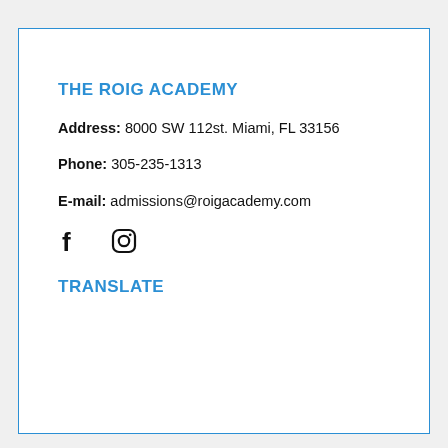THE ROIG ACADEMY
Address: 8000 SW 112st. Miami, FL 33156
Phone: 305-235-1313
E-mail: admissions@roigacademy.com
[Figure (logo): Facebook and Instagram social media icons]
TRANSLATE